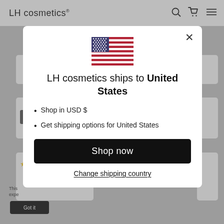LH cosmetics®
[Figure (screenshot): Website background showing LH cosmetics website partially obscured by modal overlay. Gray background visible with partial product cards and text.]
[Figure (illustration): US flag emoji/icon displayed at top center of modal dialog]
LH cosmetics ships to United States
Shop in USD $
Get shipping options for United States
Shop now
Change shipping country